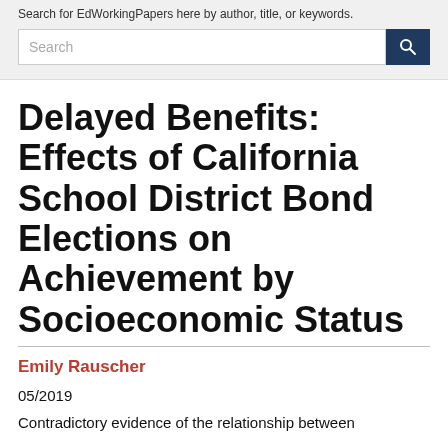Search for EdWorkingPapers here by author, title, or keywords.
Delayed Benefits: Effects of California School District Bond Elections on Achievement by Socioeconomic Status
Emily Rauscher
05/2019
Contradictory evidence of the relationship between